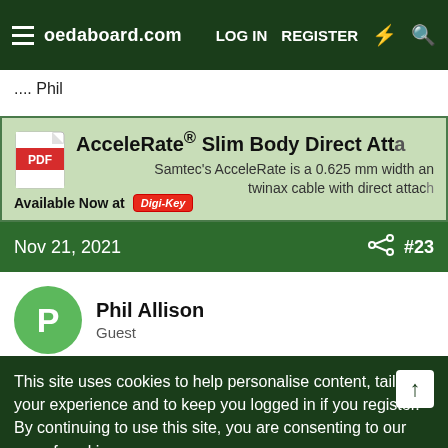oedaboard.com — LOG IN  REGISTER
.... Phil
[Figure (infographic): Advertisement banner for AcceleRate® Slim Body Direct Attach product by Samtec. Shows PDF icon, product title, description 'Samtec's AcceleRate is a 0.625 mm width and twinax cable with direct attach', and 'Available Now at DigiKey' label.]
Nov 21, 2021  #23
Phil Allison
Guest
This site uses cookies to help personalise content, tailor your experience and to keep you logged in if you register.
By continuing to use this site, you are consenting to our use of cookies.